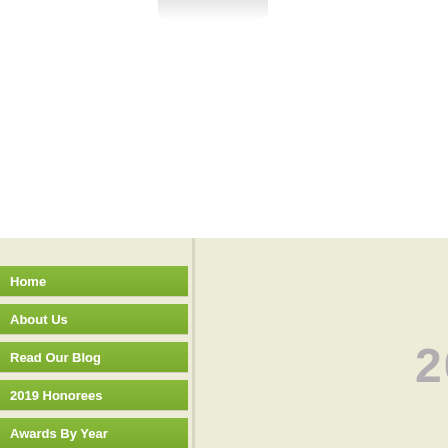[Figure (screenshot): Top half of page showing white background with a folded paper shadow effect at top center]
Home
About Us
Read Our Blog
2019 Honorees
Awards By Year
2013 AW